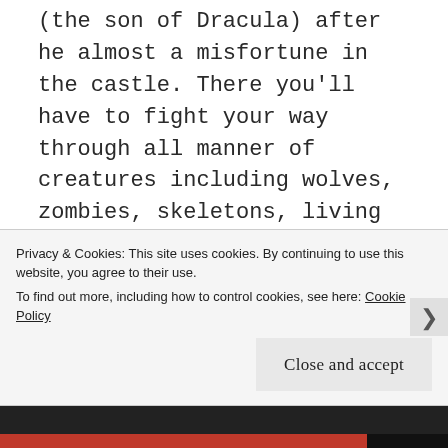(the son of Dracula) after he almost a misfortune in the castle. There you'll have to fight your way through all manner of creatures including wolves, zombies, skeletons, living suits of armor, bats, venomous plants, floating acid skulls, medusa heads, hunchbacks, creepy Lovecraftian horrors and even Death himself shows up. Drac's castle has everything you need to throw the best Halloween party in the world.
This game is like a good horror movie. It has amazing visuals but some admittedly cheesy dialogue...
Privacy & Cookies: This site uses cookies. By continuing to use this website, you agree to their use.
To find out more, including how to control cookies, see here: Cookie Policy
Close and accept